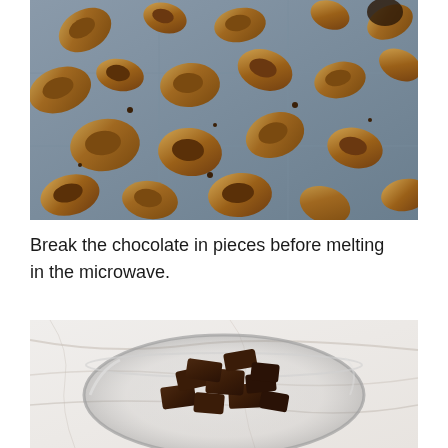[Figure (photo): Close-up photo of roasted walnuts spread out on a metal baking sheet, viewed from above. The walnuts are golden-brown and scattered across the silver/grey tray.]
Break the chocolate in pieces before melting in the microwave.
[Figure (photo): Photo of broken dark chocolate pieces piled in a clear glass bowl, set on a white marble surface. The chocolate chunks are irregular and dark brown.]